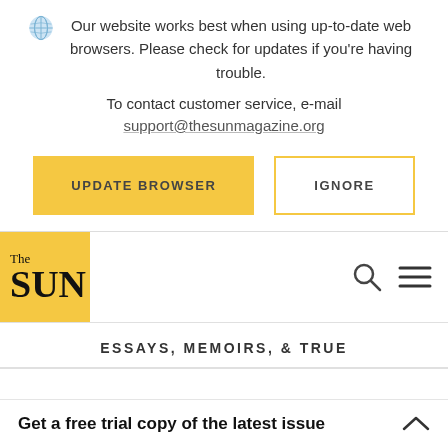Our website works best when using up-to-date web browsers. Please check for updates if you're having trouble. To contact customer service, e-mail support@thesunmagazine.org
[Figure (illustration): Globe/browser icon in light blue]
[Figure (screenshot): UPDATE BROWSER button (yellow) and IGNORE button (outlined)]
[Figure (logo): The Sun magazine logo — yellow box with 'The SUN' in bold serif text]
[Figure (illustration): Search icon (magnifying glass) and menu icon (hamburger lines)]
ESSAYS, MEMOIRS, & TRUE
Get a free trial copy of the latest issue